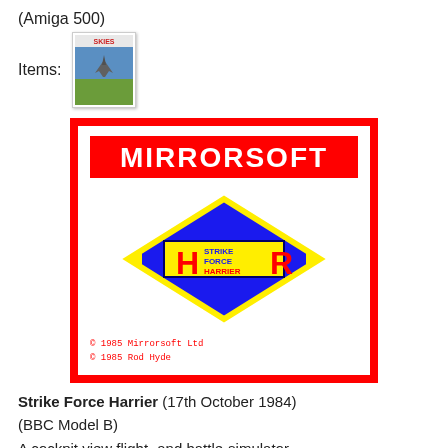(Amiga 500)
Items:
[Figure (photo): Small thumbnail image of Strike Force Harrier game cover showing a jet aircraft on a blue/green background with 'SKIES' text]
[Figure (illustration): Mirrorsoft game box cover for Strike Force Harrier. Red border, white background. Top: Red banner with white text 'MIRRORSOFT'. Center: Blue diamond shape with yellow border, containing yellow rectangle with 'H' and 'STRIKE FORCE HARRIER' text in red and blue. Bottom copyright text: '© 1985 Mirrorsoft Ltd © 1985 Rod Hyde']
Strike Force Harrier (17th October 1984) (BBC Model B)
A cockpit view flight- and battle-simulator.